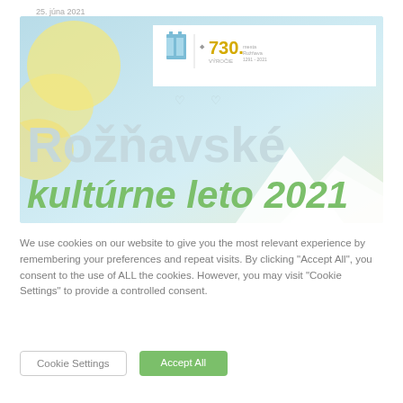25. júna 2021
[Figure (illustration): Banner image for Rožňavské kultúrne leto 2021 event. Features a light blue sky background with yellow sun shapes on the left, white mountain silhouettes at the bottom right, a white logo area in the upper center showing a building icon and '730. výročie mesta Rožňava', and large light grey text 'Rožňavské' with green italic text 'kultúrne leto 2021' and two small heart outlines above.]
We use cookies on our website to give you the most relevant experience by remembering your preferences and repeat visits. By clicking "Accept All", you consent to the use of ALL the cookies. However, you may visit "Cookie Settings" to provide a controlled consent.
Cookie Settings
Accept All